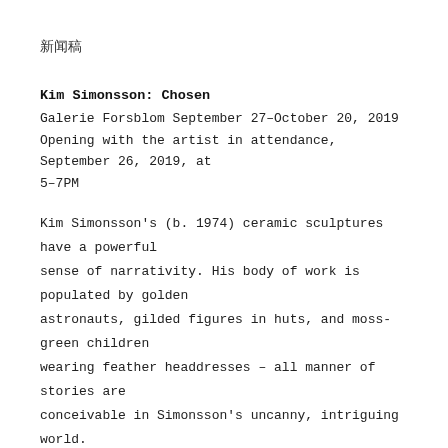新闻稿
Kim Simonsson: Chosen
Galerie Forsblom September 27–October 20, 2019
Opening with the artist in attendance, September 26, 2019, at 5–7PM
Kim Simonsson's (b. 1974) ceramic sculptures have a powerful sense of narrativity. His body of work is populated by golden astronauts, gilded figures in huts, and moss-green children wearing feather headdresses – all manner of stories are conceivable in Simonsson's uncanny, intriguing world. Although the artist may not have a ready story in mind when he begins working on a piece, each work suggests a coincidence or chance encounter that has just occurred. As he develops his ideas, the artist reflects on the strange or